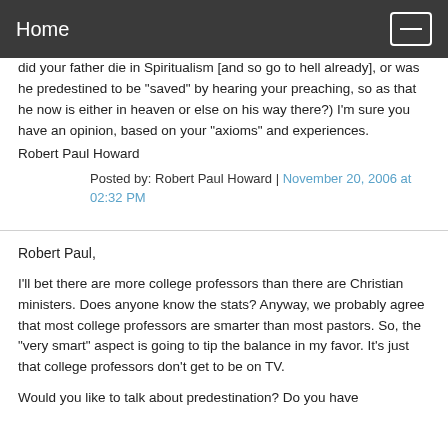Home
did your father die in Spiritualism [and so go to hell already], or was he predestined to be "saved" by hearing your preaching, so as that he now is either in heaven or else on his way there?) I'm sure you have an opinion, based on your "axioms" and experiences.
Robert Paul Howard
Posted by: Robert Paul Howard | November 20, 2006 at 02:32 PM
Robert Paul,
I'll bet there are more college professors than there are Christian ministers. Does anyone know the stats? Anyway, we probably agree that most college professors are smarter than most pastors. So, the "very smart" aspect is going to tip the balance in my favor. It's just that college professors don't get to be on TV.
Would you like to talk about predestination? Do you have